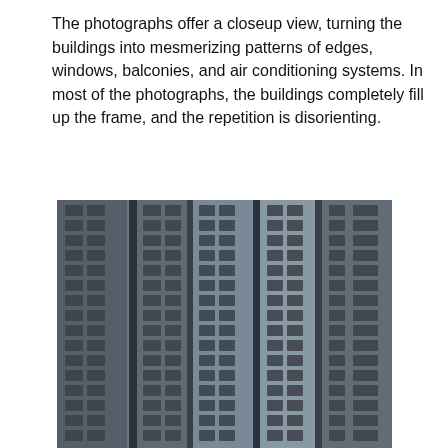The photographs offer a closeup view, turning the buildings into mesmerizing patterns of edges, windows, balconies, and air conditioning systems. In most of the photographs, the buildings completely fill up the frame, and the repetition is disorienting.
[Figure (photo): A closeup aerial photograph of densely packed high-rise residential buildings, showing repetitive patterns of windows, balconies, and air conditioning units in shades of gray. The buildings fill the entire frame creating a disorienting, abstract pattern.]